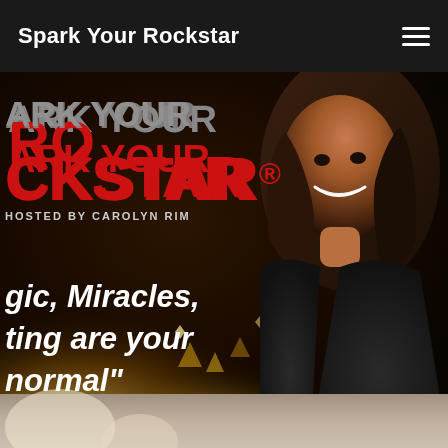Spark Your Rockstar
[Figure (photo): Hero banner image for 'Spark Your Rockstar' website featuring brand logo text 'ARK YOUR ROCKSTAR®' with 'HOSTED BY CAROLYN RIM' subtitle, overlaid on a dark background with gold bokeh/sparkle effects, and a smiling woman with dark hair wearing a dark top on the right side. Tagline reads: 'gic, Miracles, ting are your normal']
ARK YOUR ROCKSTAR® — HOSTED BY CAROLYN RIM — "gic, Miracles, ting are your normal"